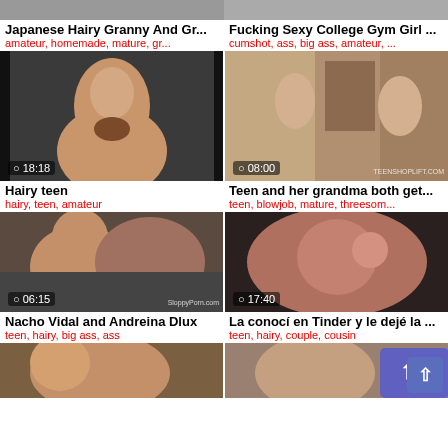Japanese Hairy Granny And Gr...
amateur, homemade, mature, gr...
Fucking Sexy College Gym Girl ...
cumshot, ass, big ass, amateur, ...
[Figure (photo): Video thumbnail with timer 18:18]
[Figure (photo): Video thumbnail with timer 08:00, watermark TEENSHOPLIFT.COM]
Hairy teen
hairy, teen, amateur
Teen and her grandma both get...
teen, blowjob, mature, threesom...
[Figure (photo): Video thumbnail with timer 06:15, watermark SloppyPorn.com]
[Figure (photo): Video thumbnail with timer 17:40]
Nacho Vidal and Andreina Dlux
teen, hairy, big ass, ass
La conocí en Tinder y le dejé la ...
teen, hairy, couple, cousin
[Figure (photo): Partial video thumbnail bottom row left]
[Figure (photo): Partial video thumbnail bottom row right]